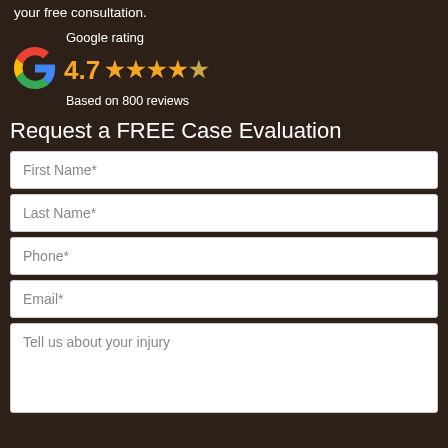your free consultation.
[Figure (logo): Google logo with colored G and star rating showing 4.7 based on 800 reviews]
Request a FREE Case Evaluation
First Name*
Last Name*
Phone*
Email*
Tell us about your injury